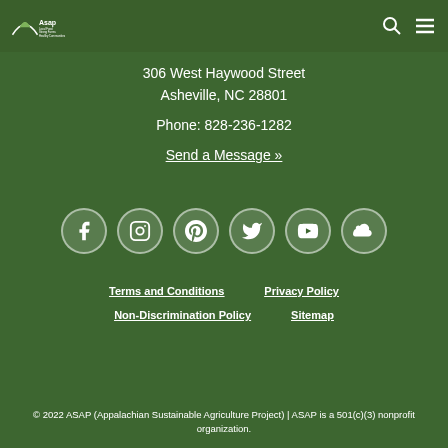ASAP – Local Food, Strong Farms, Healthy Communities [logo] [search icon] [menu icon]
306 West Haywood Street
Asheville, NC 28801
Phone: 828-236-1282
Send a Message »
[Figure (infographic): Row of 6 circular social media icons: Facebook, Instagram, Pinterest, Twitter, YouTube, SoundCloud on dark green background]
Terms and Conditions
Privacy Policy
Non-Discrimination Policy
Sitemap
© 2022 ASAP (Appalachian Sustainable Agriculture Project) | ASAP is a 501(c)(3) nonprofit organization.